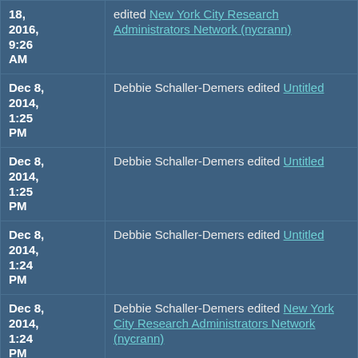| Date | Action |
| --- | --- |
| 18, 2016, 9:26 AM | edited New York City Research Administrators Network (nycrann) |
| Dec 8, 2014, 1:25 PM | Debbie Schaller-Demers edited Untitled |
| Dec 8, 2014, 1:25 PM | Debbie Schaller-Demers edited Untitled |
| Dec 8, 2014, 1:24 PM | Debbie Schaller-Demers edited Untitled |
| Dec 8, 2014, 1:24 PM | Debbie Schaller-Demers edited New York City Research Administrators Network (nycrann) |
| Sep 19, 2014, 9:47 AM | Debbie Schaller-Demers edited BMCC Grant Development Manager |
| Sep 19, 2014, | Debbie Schaller-Demers edited NYU School of Dentistry |